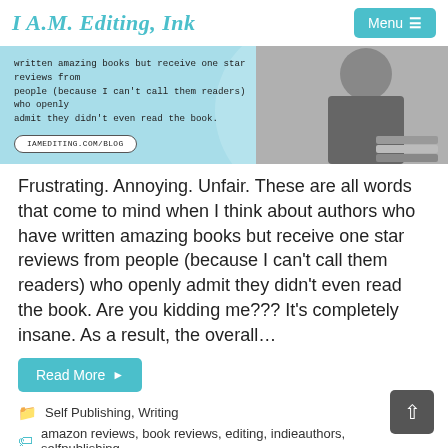I A.M. Editing, Ink
[Figure (screenshot): Blue banner with italic text about one star reviews and a URL button IAMEDITING.COM/BLOG, with a grayscale photo of a person near stacked books on the right side.]
Frustrating. Annoying. Unfair. These are all words that come to mind when I think about authors who have written amazing books but receive one star reviews from people (because I can't call them readers) who openly admit they didn't even read the book. Are you kidding me??? It's completely insane. As a result, the overall…
Read More ▶
Self Publishing, Writing
amazon reviews, book reviews, editing, indieauthors, selfpublishing,